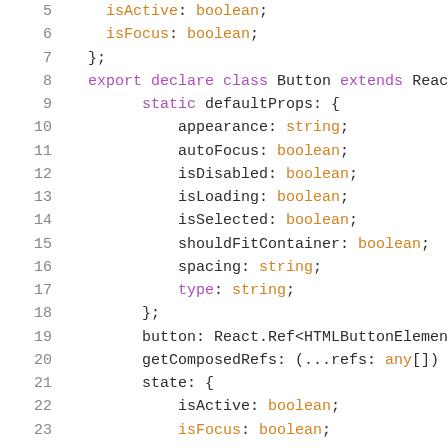[Figure (screenshot): Code snippet showing TypeScript class definition with line numbers 5-23, featuring syntax highlighting: purple for keywords like export, declare, class, static, type; orange for type annotations like boolean, string, any; dark/black for identifiers and punctuation.]